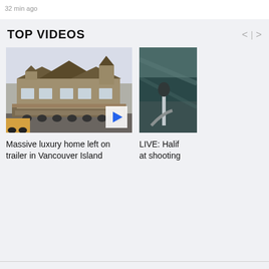32 min ago
TOP VIDEOS
[Figure (screenshot): Video thumbnail of a massive luxury house being transported on a trailer on Vancouver Island, with a play button overlay]
Massive luxury home left on trailer in Vancouver Island
[Figure (screenshot): Partially visible video thumbnail of a dark teal/grey scene related to a Halifax shooting, partially cropped]
LIVE: Halif at shooting